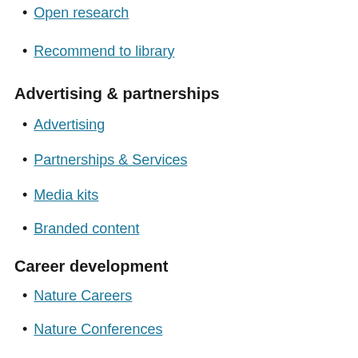Open research
Recommend to library
Advertising & partnerships
Advertising
Partnerships & Services
Media kits
Branded content
Career development
Nature Careers
Nature Conferences
Nature events
Regional websites
Nature Africa